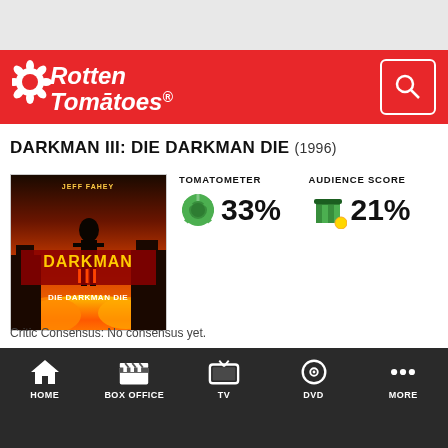[Figure (logo): Rotten Tomatoes logo in white on red background with search icon button]
DARKMAN III: DIE DARKMAN DIE (1996)
[Figure (photo): Movie poster for Darkman III: Die Darkman Die showing a dark figure against a fiery background with Jeff Fahey credit at top]
TOMATOMETER
AUDIENCE SCORE
33%
21%
Critic Consensus: No consensus yet.
HOME  BOX OFFICE  TV  DVD  MORE